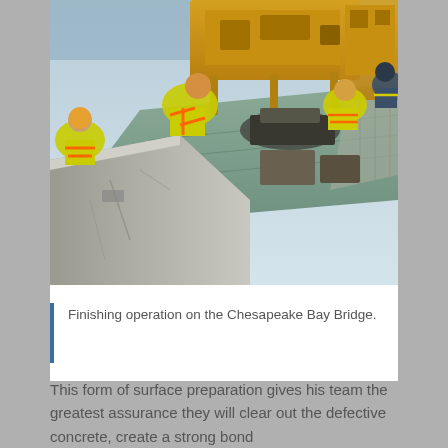[Figure (photo): Construction workers in high-visibility yellow and orange vests and hard hats working on a bridge deck finishing operation. Large yellow construction machinery is visible in the background along with a concrete barrier in the foreground. The setting appears to be the Chesapeake Bay Bridge.]
Finishing operation on the Chesapeake Bay Bridge.
This form of surface preparation gives his team the greatest assurance they will clear out the defective concrete, create a strong bond